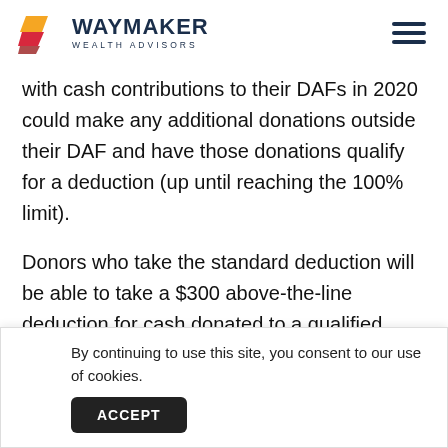WAYMAKER WEALTH ADVISORS
with cash contributions to their DAFs in 2020 could make any additional donations outside their DAF and have those donations qualify for a deduction (up until reaching the 100% limit).
Donors who take the standard deduction will be able to take a $300 above-the-line deduction for cash donated to a qualified nonprofit. Only people who don't itemize can use this charitable deduction and only cash donations to a qualifying nonprofit are eligible to
By continuing to use this site, you consent to our use of cookies.
ACCEPT